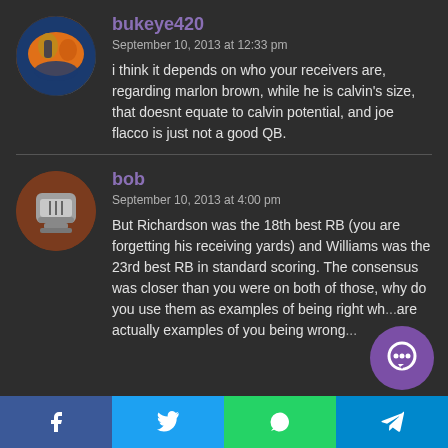bukeye420
September 10, 2013 at 12:33 pm
i think it depends on who your receivers are, regarding marlon brown, while he is calvin’s size, that doesnt equate to calvin potential, and joe flacco is just not a good QB.
bob
September 10, 2013 at 4:00 pm
But Richardson was the 18th best RB (you are forgetting his receiving yards) and Williams was the 23rd best RB in standard scoring. The consensus was closer than you were on both of those, why do you use them as examples of being right wh... are actually examples of you being wrong...